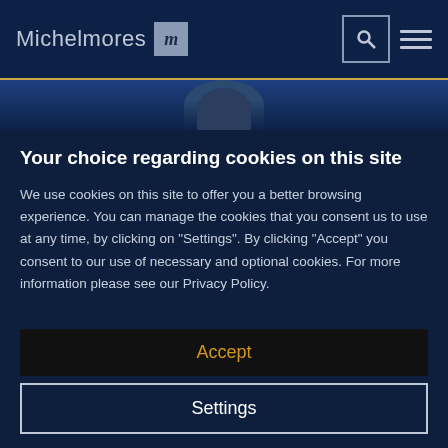Michelmores
[Figure (photo): Partial view of a person in a suit, visible from shoulders up, against a dark blue background]
Your choice regarding cookies on this site
We use cookies on this site to offer you a better browsing experience. You can manage the cookies that you consent us to use at any time, by clicking on "Settings". By clicking "Accept" you consent to our use of necessary and optional cookies. For more information please see our Privacy Policy.
Accept
Settings